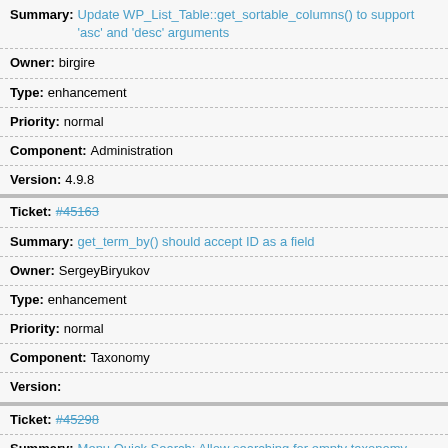Summary: Update WP_List_Table::get_sortable_columns() to support 'asc' and 'desc' arguments
Owner: birgire
Type: enhancement
Priority: normal
Component: Administration
Version: 4.9.8
Ticket: #45163
Summary: get_term_by() should accept ID as a field
Owner: SergeyBiryukov
Type: enhancement
Priority: normal
Component: Taxonomy
Version:
Ticket: #45298
Summary: Menu Quick Search: Allow searching for empty taxonomy terms
Owner: johnbillion
Type: defect (bug)
Priority: normal